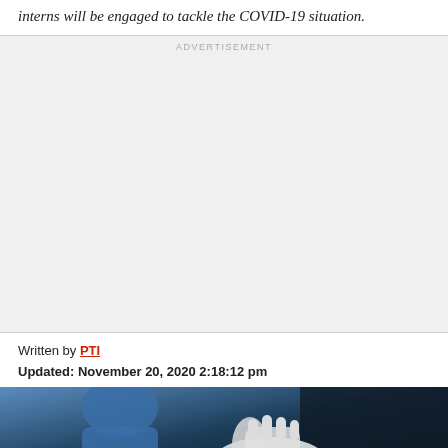interns will be engaged to tackle the COVID-19 situation.
[Figure (other): Advertisement placeholder box with light gray background and 'ADVERTISEMENT' label centered at top]
Written by PTI
Updated: November 20, 2020 2:18:12 pm
[Figure (photo): Photo of a person in blue protective gear and white gloves, likely a healthcare worker handling COVID-19 related equipment]